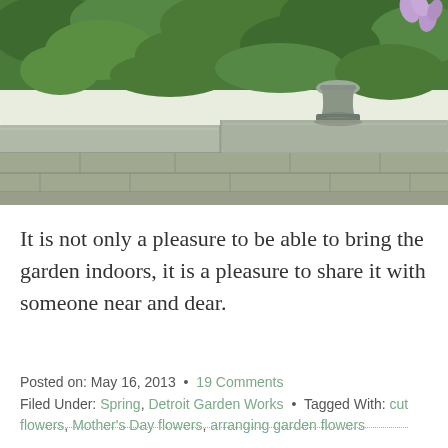[Figure (photo): Garden photo showing a stone wall with lush green plants on top, a decorative stone urn/pedestal in the center-right, and a purple flower visible at the top right corner. The scene shows an outdoor garden with limestone or bluestone flat coping stones on the wall.]
It is not only a pleasure to be able to bring the garden indoors, it is a pleasure to share it with someone near and dear.
Posted on: May 16, 2013 • 19 Comments Filed Under: Spring, Detroit Garden Works • Tagged With: cut flowers, Mother's Day flowers, arranging garden flowers